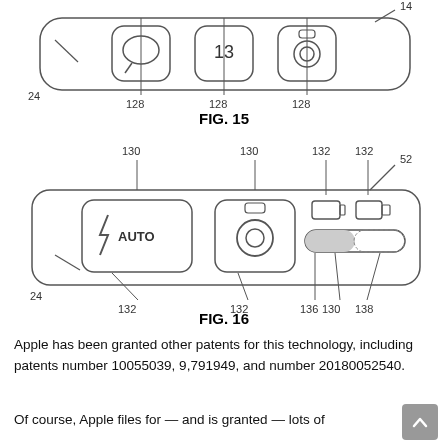[Figure (engineering-diagram): Patent FIG. 15 showing a row of app icons labeled 128 with reference number 24]
FIG. 15
[Figure (engineering-diagram): Patent FIG. 16 showing a toolbar/control strip with AUTO flash icon (130, 132), camera icon (130, 132), and toggle controls (136, 130, 138), reference numbers 24 and 52]
FIG. 16
Apple has been granted other patents for this technology, including patents number 10055039, 9,791949, and number 20180052540.
Of course, Apple files for — and is granted — lots of